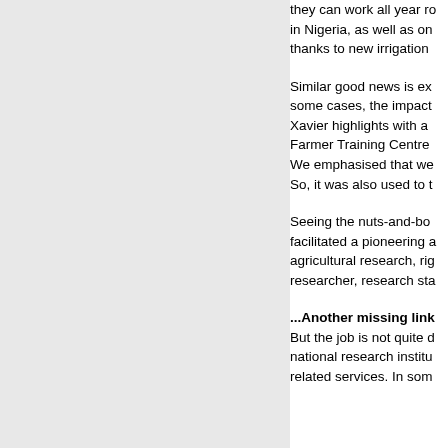they can work all year ro... in Nigeria, as well as on... thanks to new irrigation...
Similar good news is ex... some cases, the impact... Xavier highlights with a... Farmer Training Centre... We emphasised that we... So, it was also used to t...
Seeing the nuts-and-bo... facilitated a pioneering a... agricultural research, rig... researcher, research sta...
...Another missing link...
But the job is not quite d... national research institu... related services. In som...